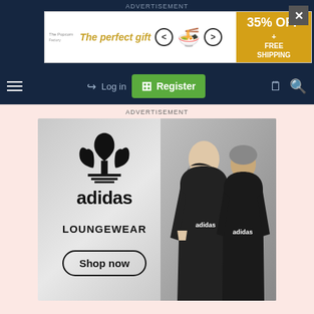ADVERTISEMENT
[Figure (screenshot): Banner advertisement: 'The perfect gift' with food products, navigation arrows, and '35% OFF + FREE SHIPPING' offer on golden background]
[Figure (screenshot): Navigation bar with hamburger menu, Log in link, green Register button, document icon, and search icon on dark navy background]
ADVERTISEMENT
[Figure (photo): Adidas Loungewear advertisement showing adidas trefoil logo, brand name, LOUNGEWEAR text, Shop now button, and two models wearing black adidas hoodies]